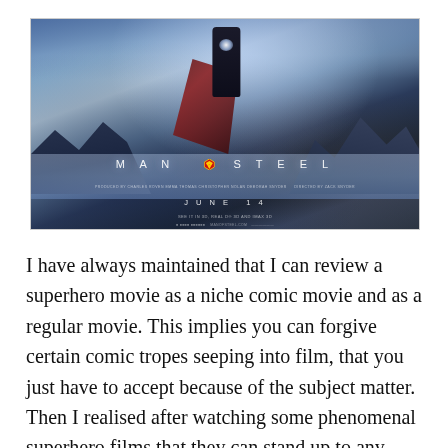[Figure (photo): Movie poster for 'Man of Steel' showing Superman standing on rocky terrain with a red cape billowing behind him, chest glowing, against a dramatic blue-grey stormy sky. Text reads 'MAN OF STEEL', 'JUNE 14', with credits and IMAX branding.]
I have always maintained that I can review a superhero movie as a niche comic movie and as a regular movie. This implies you can forgive certain comic tropes seeping into film, that you just have to accept because of the subject matter. Then I realised after watching some phenomenal superhero films that they can stand up to any movie genre. Every comic movie needs to aspire to this and not just be a